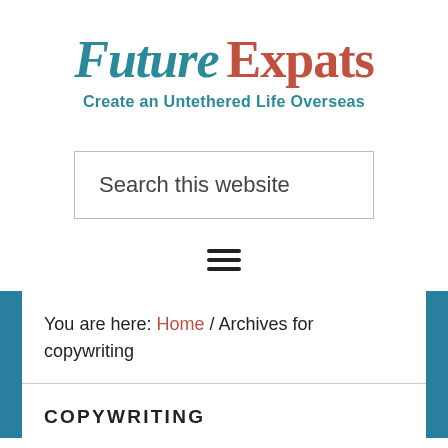Future Expats
Create an Untethered Life Overseas
Search this website
[Figure (other): Hamburger menu icon (three horizontal lines)]
You are here: Home / Archives for copywriting
COPYWRITING